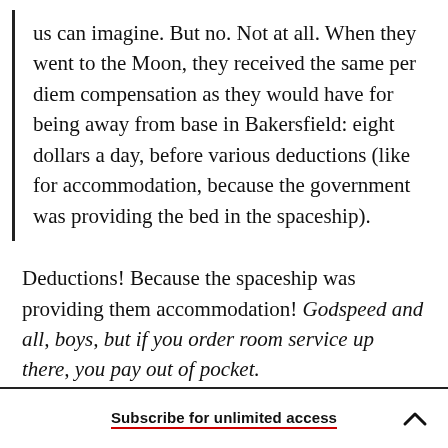us can imagine. But no. Not at all. When they went to the Moon, they received the same per diem compensation as they would have for being away from base in Bakersfield: eight dollars a day, before various deductions (like for accommodation, because the government was providing the bed in the spaceship).
Deductions! Because the spaceship was providing them accommodation! Godspeed and all, boys, but if you order room service up there, you pay out of pocket.
Subscribe for unlimited access